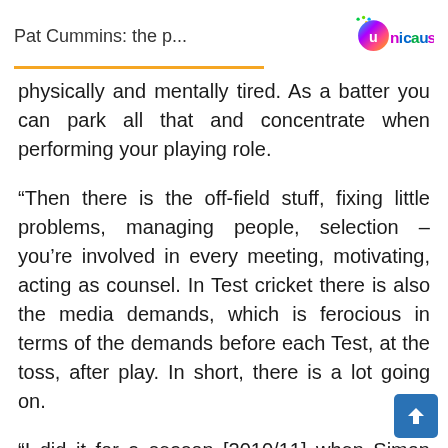Pat Cummins: the p...
[Figure (logo): Unicaus logo with colorful circular icon and text 'Unicaus' in blue, pink, and green]
physically and mentally tired. As a batter you can park all that and concentrate when performing your playing role.
“Then there is the off-field stuff, fixing little problems, managing people, selection – you’re involved in every meeting, motivating, acting as counsel. In Test cricket there is also the media demands, which is ferocious in terms of the demands before each Test, at the toss, after play. In short, there is a lot going on.
“I did it for a season [2010/11] when Simon Katich was away and the likes of Pat, Steve Smith, Usma